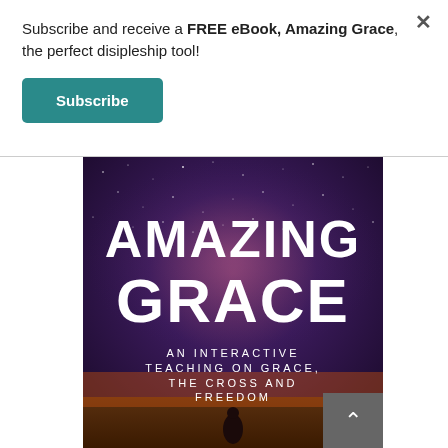Subscribe and receive a FREE eBook, Amazing Grace, the perfect disipleship tool!
Subscribe
[Figure (illustration): Book cover for 'Amazing Grace: An Interactive Teaching on Grace, the Cross and Freedom' — dark night sky background with stars, large white text 'AMAZING GRACE' and subtitle 'AN INTERACTIVE TEACHING ON GRACE, THE CROSS AND FREEDOM', silhouette of a person at the bottom.]